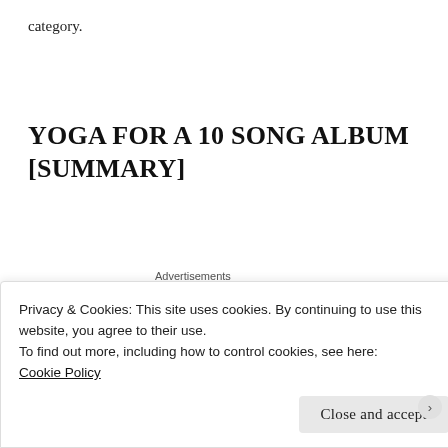category.
YOGA FOR A 10 SONG ALBUM [SUMMARY]
[Figure (other): WordPress advertisement banner with text 'Need a website quickly – and on a budget?' on a beige background with WordPress logo]
song 1: opening sequence and/or sun salutations
Privacy & Cookies: This site uses cookies. By continuing to use this website, you agree to their use.
To find out more, including how to control cookies, see here:
Cookie Policy
Close and accept